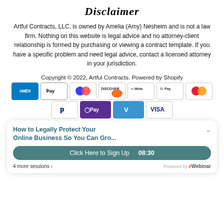Disclaimer
Artful Contracts, LLC, is owned by Amelia (Amy) Nesheim and is not a law firm. Nothing on this website is legal advice and no attorney-client relationship is formed by purchasing or viewing a contract template. If you have a specific problem and need legal advice, contact a licensed attorney in your jurisdiction.
Copyright © 2022, Artful Contracts. Powered by Shopify
[Figure (other): Payment method icons row 1: American Express, Apple Pay, Diners Club, Discover, Meta Pay, Google Pay, Mastercard]
[Figure (other): Payment method icons row 2: PayPal, OPay, Venmo, Visa]
How to Legally Protect Your Online Business So You Can Gro...
Click Here to Sign Up  08:30
4 more sessions ›
Powered by eWebinar